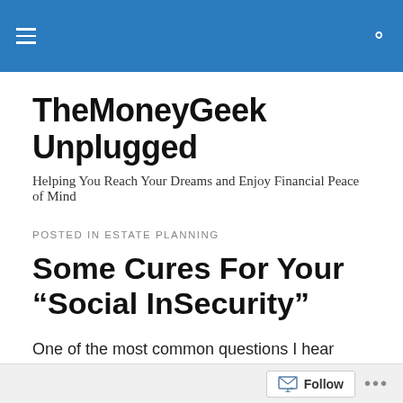TheMoneyGeek Unplugged — navigation header bar with hamburger menu and search icon
TheMoneyGeek Unplugged
Helping You Reach Your Dreams and Enjoy Financial Peace of Mind
POSTED IN ESTATE PLANNING
Some Cures For Your “Social InSecurity”
One of the most common questions I hear from clients and prospects concerns the viability of the social security system and the likelihood it will be solvent enough to pay
Follow ...